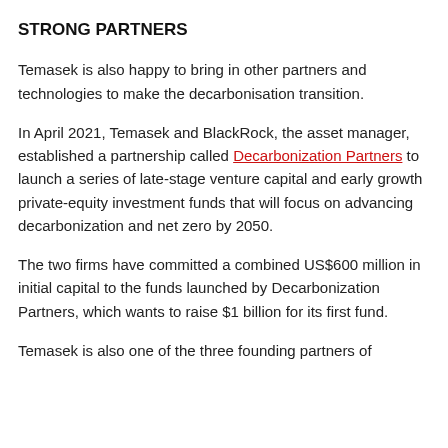STRONG PARTNERS
Temasek is also happy to bring in other partners and technologies to make the decarbonisation transition.
In April 2021, Temasek and BlackRock, the asset manager, established a partnership called Decarbonization Partners to launch a series of late-stage venture capital and early growth private-equity investment funds that will focus on advancing decarbonization and net zero by 2050.
The two firms have committed a combined US$600 million in initial capital to the funds launched by Decarbonization Partners, which wants to raise $1 billion for its first fund.
Temasek is also one of the three founding partners of